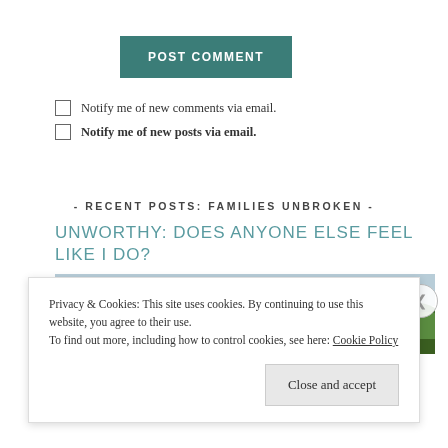POST COMMENT
Notify me of new comments via email.
Notify me of new posts via email.
- RECENT POSTS: FAMILIES UNBROKEN -
UNWORTHY: DOES ANYONE ELSE FEEL LIKE I DO?
[Figure (photo): Outdoor photo showing green trees against a light sky]
Privacy & Cookies: This site uses cookies. By continuing to use this website, you agree to their use.
To find out more, including how to control cookies, see here: Cookie Policy
Close and accept